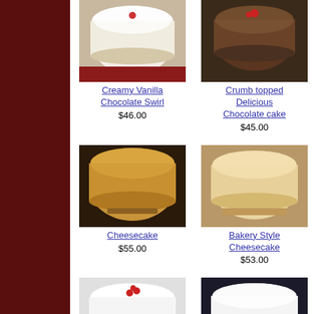[Figure (photo): Creamy Vanilla Chocolate Swirl cake photo]
Creamy Vanilla Chocolate Swirl
$46.00
[Figure (photo): Crumb topped Delicious Chocolate cake photo]
Crumb topped Delicious Chocolate cake
$45.00
[Figure (photo): Partial cake photo on right column (top)]
Ch... To...
[Figure (photo): Cheesecake photo]
Cheesecake
$55.00
[Figure (photo): Bakery Style Cheesecake photo]
Bakery Style Cheesecake
$53.00
[Figure (photo): Partial cake photo on right column (middle)]
Whe... CHI...
[Figure (photo): Coconut Vanilla topped Cake photo]
Coconut Vanilla topped Cake
$50.00
[Figure (photo): Reverse bottom border Smooth Cake photo]
Reverse bottom border Smooth Cake
$48.00
[Figure (photo): Partial cake photo on right column (bottom)]
Cho... C...